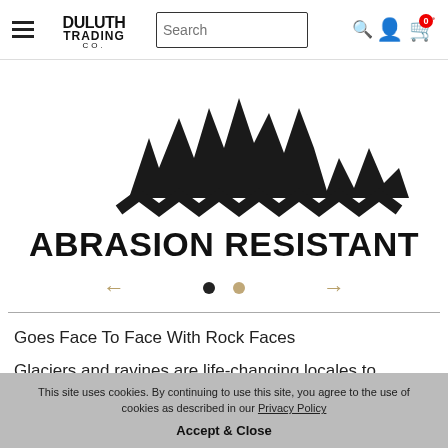Duluth Trading Co. navigation bar with hamburger menu, logo, search box, user icon, and cart icon
[Figure (illustration): Black jagged/torn shape with zigzag wave pattern below, representing abrasion-resistant material graphic]
ABRASION RESISTANT
[Figure (infographic): Slideshow navigation: left arrow, filled circle dot, empty circle dot, right arrow]
Goes Face To Face With Rock Faces
Glaciers and ravines are life-changing locales to explore, and also excellent spots to shred a
This site uses cookies. By continuing to use this site, you agree to the use of cookies as described in our Privacy Policy
Accept & Close